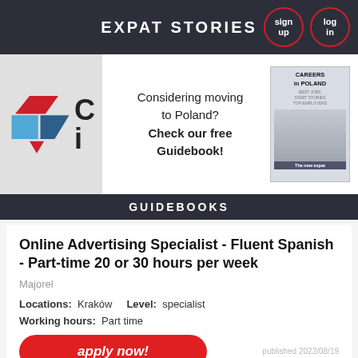EXPAT STORIES
[Figure (screenshot): Careers in Poland banner advertisement with logo, text 'Considering moving to Poland? Check our free Guidebook!' and a book cover image.]
GUIDEBOOKS
Online Advertising Specialist - Fluent Spanish - Part-time 20 or 30 hours per week
Majorel
Locations: Kraków    Level: specialist
Working hours: Part time
apply now!
published 2022/08/19